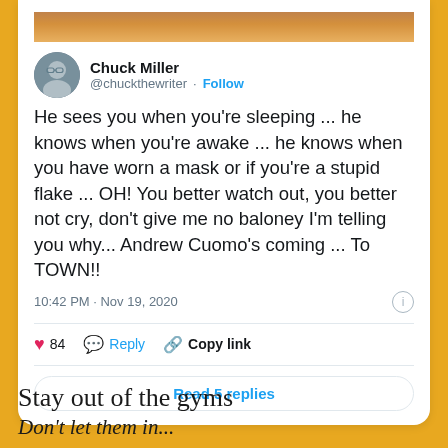[Figure (screenshot): Screenshot of a tweet by Chuck Miller (@chuckthewriter) with a Follow button. Tweet text: He sees you when you're sleeping ... he knows when you're awake ... he knows when you have worn a mask or if you're a stupid flake ... OH! You better watch out, you better not cry, don't give me no baloney I'm telling you why... Andrew Cuomo's coming ... To TOWN!! Posted at 10:42 PM · Nov 19, 2020. Shows 84 likes, Reply, Copy link actions, and Read 5 replies button.]
Stay out of the gyms